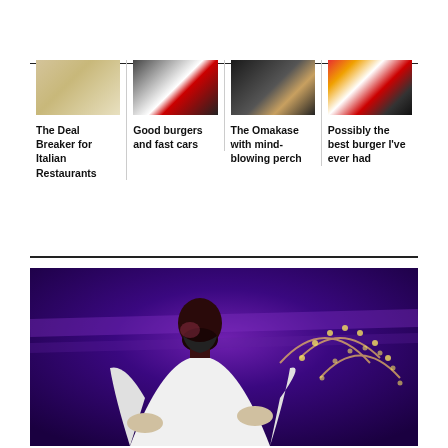[Figure (photo): Thumbnail of food on a plate]
The Deal Breaker for Italian Restaurants
[Figure (photo): Thumbnail of a racing car]
Good burgers and fast cars
[Figure (photo): Thumbnail of sushi/omakase dish]
The Omakase with mind-blowing perch
[Figure (photo): Thumbnail of a burger restaurant exterior]
Possibly the best burger I've ever had
[Figure (photo): Large photo of a person wearing a mask in a purple-lit venue with arched decorations]